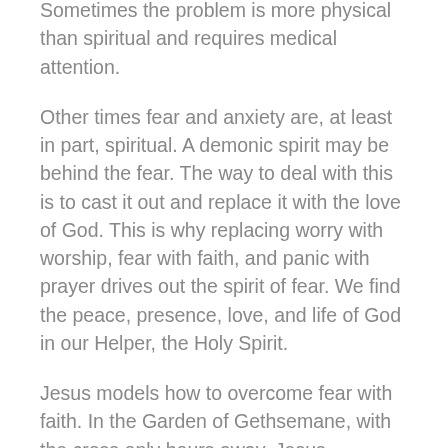Sometimes the problem is more physical than spiritual and requires medical attention.
Other times fear and anxiety are, at least in part, spiritual. A demonic spirit may be behind the fear. The way to deal with this is to cast it out and replace it with the love of God. This is why replacing worry with worship, fear with faith, and panic with prayer drives out the spirit of fear. We find the peace, presence, love, and life of God in our Helper, the Holy Spirit.
Jesus models how to overcome fear with faith. In the Garden of Gethsemane, with the cross only hours away, Jesus experienced fear and anxiety. Unable to sleep. His sweat like drops of blood.